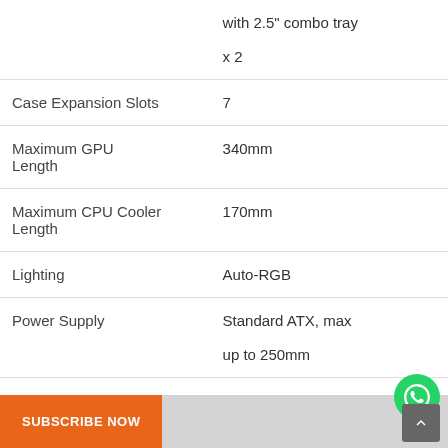|  |  |
| --- | --- |
|  | with 2.5" combo tray x 2 |
| Case Expansion Slots | 7 |
| Maximum GPU Length | 340mm |
| Maximum CPU Cooler Length | 170mm |
| Lighting | Auto-RGB |
| Power Supply | Standard ATX, max up to 250mm |
SUBSCRIBE NOW
[Figure (other): WhatsApp contact button (green circle with phone icon)]
[Figure (other): Scroll to top button (grey square with up arrow)]